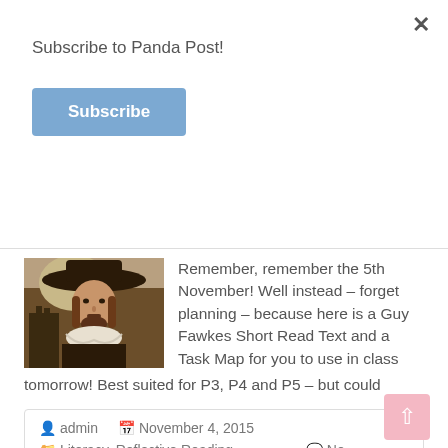Subscribe to Panda Post!
Subscribe
[Figure (photo): Portrait painting of Guy Fawkes wearing a wide-brimmed hat and lace collar, with a dark background including a building silhouette.]
Remember, remember the 5th November! Well instead – forget planning – because here is a Guy Fawkes Short Read Text and a Task Map for you to use in class tomorrow! Best suited for P3, P4 and P5 – but could
admin  November 4, 2015
Literacy, Reflective Reading, Resources   No Comments
Read more